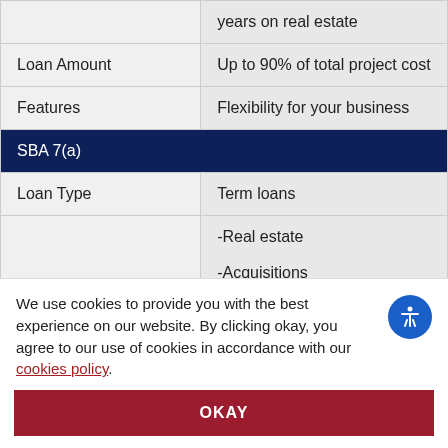|  |  |
| --- | --- |
|  | years on real estate |
| Loan Amount | Up to 90% of total project cost |
| Features | Flexibility for your business |
| SBA 7(a) |  |
| Loan Type | Term loans |
|  | -Real estate
-Acquisitions
-Construction |
We use cookies to provide you with the best experience on our website. By clicking okay, you agree to our use of cookies in accordance with our cookies policy.
OKAY